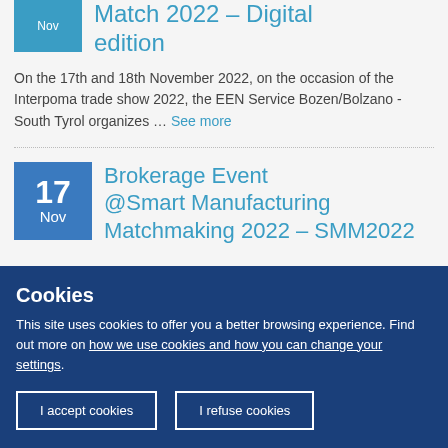Match 2022 - Digital edition
On the 17th and 18th November 2022, on the occasion of the Interpoma trade show 2022, the EEN Service Bozen/Bolzano - South Tyrol organizes ... See more
Brokerage Event @Smart Manufacturing Matchmaking 2022 – SMM2022
Cookies
This site uses cookies to offer you a better browsing experience. Find out more on how we use cookies and how you can change your settings.
I accept cookies
I refuse cookies